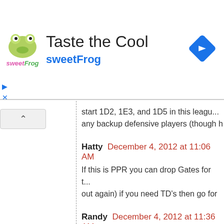[Figure (logo): sweetFrog frozen yogurt advertisement banner with logo, 'Taste the Cool' title, 'sweetFrog' subtitle, and a blue navigation diamond icon on the right]
start 1D2, 1E3, and 1D5 in this leagu... any backup defensive players (though h
Hatty December 4, 2012 at 11:06 AM
If this is PPR you can drop Gates for t... out again) if you need TD's then go for
Randy December 4, 2012 at 11:36 AM
It's a standard league... So drop Gates f
Hatty December 4, 2012 at 1:07 PM